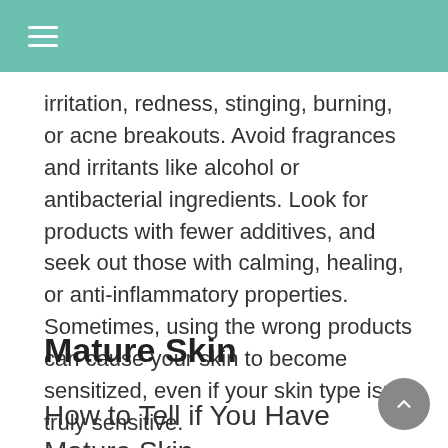irritation, redness, stinging, burning, or acne breakouts. Avoid fragrances and irritants like alcohol or antibacterial ingredients. Look for products with fewer additives, and seek out those with calming, healing, or anti-inflammatory properties. Sometimes, using the wrong products can cause your skin to become sensitized, even if your skin type isn't truly sensitive.
Mature Skin
How to Tell if You Have Mature Skin